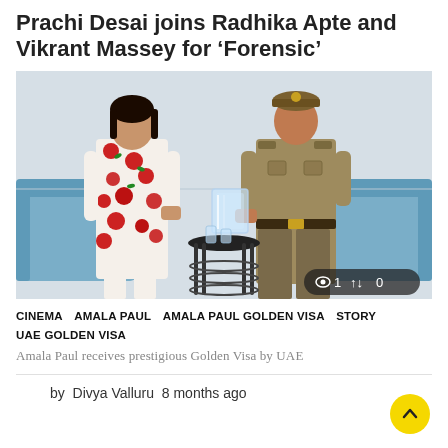Prachi Desai joins Radhika Apte and Vikrant Massey for ‘Forensic’
[Figure (photo): Two people standing indoors. One person wearing a white floral patterned outfit and another wearing a khaki/brown uniform. They appear to be exchanging or holding a transparent/glass item. Blue sofas visible in background, black side table between them. Overlay badge shows eye icon '1' and arrow icon '0'.]
CINEMA   AMALA PAUL   AMALA PAUL GOLDEN VISA   STORY   UAE GOLDEN VISA
Amala Paul receives prestigious Golden Visa by UAE
by  Divya Valluru  8 months ago